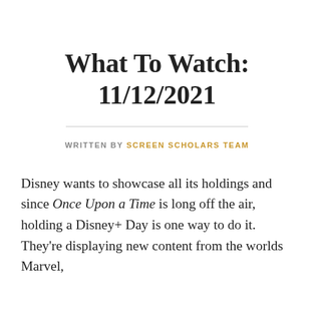What To Watch: 11/12/2021
WRITTEN BY SCREEN SCHOLARS TEAM
Disney wants to showcase all its holdings and since Once Upon a Time is long off the air, holding a Disney+ Day is one way to do it. They're displaying new content from the worlds Marvel,